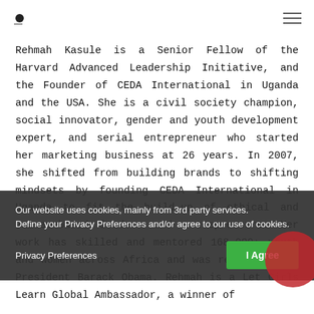[logo] [hamburger menu]
Rehmah Kasule is a Senior Fellow of the Harvard Advanced Leadership Initiative, and the Founder of CEDA International in Uganda and the USA. She is a civil society champion, social innovator, gender and youth development expert, and serial entrepreneur who started her marketing business at 26 years. In 2007, she shifted from building brands to shifting mindsets by founding CEDA International in Uganda to fit the build-up of ethical and values-based leaders and entrepreneurs. Her work has skilled and mentored 168,000+ youth and women across Africa and was recognized by President Barack Obama. Rehmah is a Let Girls Learn Global Ambassador, a winner of
Our website uses cookies, mainly from 3rd party services. Define your Privacy Preferences and/or agree to our use of cookies.
Privacy Preferences     I Agree